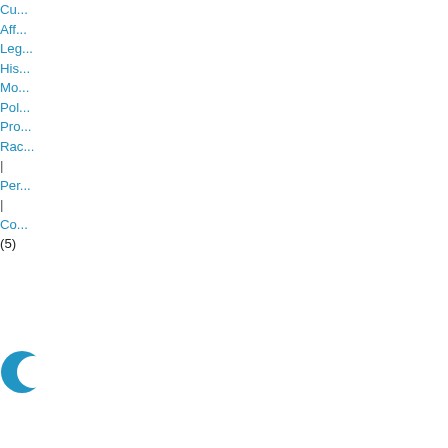Cu...
Aff...
Leg...
His...
Mo...
Pol...
Pro...
Rac...
Per...
Co...
(5)
[Figure (logo): Blue circle/crescent logo icon]
May 21, 2013
Ju...
Ka...
Tan...
at
the
Leg...
His...
Blo...